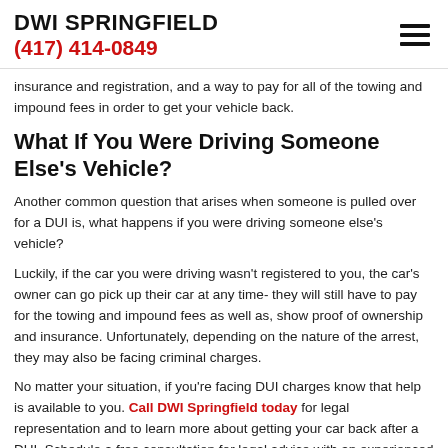DWI SPRINGFIELD
(417) 414-0849
insurance and registration, and a way to pay for all of the towing and impound fees in order to get your vehicle back.
What If You Were Driving Someone Else's Vehicle?
Another common question that arises when someone is pulled over for a DUI is, what happens if you were driving someone else's vehicle?
Luckily, if the car you were driving wasn't registered to you, the car's owner can go pick up their car at any time- they will still have to pay for the towing and impound fees as well as, show proof of ownership and insurance. Unfortunately, depending on the nature of the arrest, they may also be facing criminal charges.
No matter your situation, if you're facing DUI charges know that help is available to you. Call DWI Springfield today for legal representation and to learn more about getting your car back after a DUI. Schedule a free consultation for legal advice with an experienced Springfield criminal defense